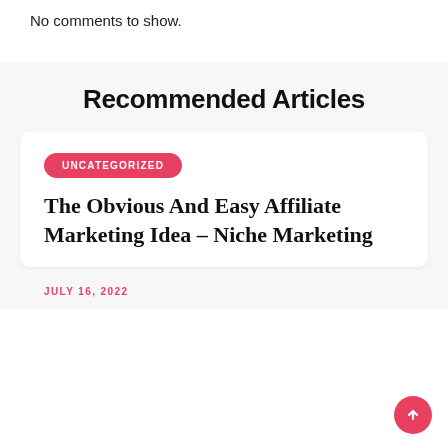No comments to show.
Recommended Articles
UNCATEGORIZED
The Obvious And Easy Affiliate Marketing Idea – Niche Marketing
JULY 16, 2022